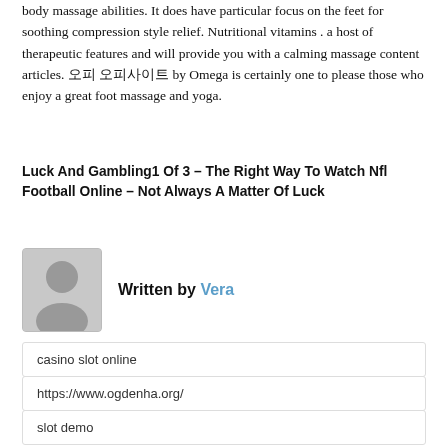body massage abilities. It does have particular focus on the feet for soothing compression style relief. Nutritional vitamins . a host of therapeutic features and will provide you with a calming massage content articles. 오피 오피사이트 by Omega is certainly one to please those who enjoy a great foot massage and yoga.
Luck And Gambling1 Of 3 – The Right Way To Watch Nfl Football Online – Not Always A Matter Of Luck
Written by Vera
casino slot online
https://www.ogdenha.org/
slot demo